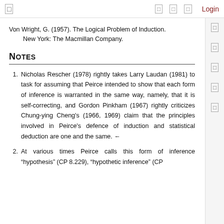Login
Von Wright, G. (1957). The Logical Problem of Induction. New York: The Macmillan Company.
Notes
1. Nicholas Rescher (1978) rightly takes Larry Laudan (1981) to task for assuming that Peirce intended to show that each form of inference is warranted in the same way, namely, that it is self-correcting, and Gordon Pinkham (1967) rightly criticizes Chung-ying Cheng's (1966, 1969) claim that the principles involved in Peirce's defence of induction and statistical deduction are one and the same. ←
2. At various times Peirce calls this form of inference "hypothesis" (CP 8.229), "hypothetic inference" (CP